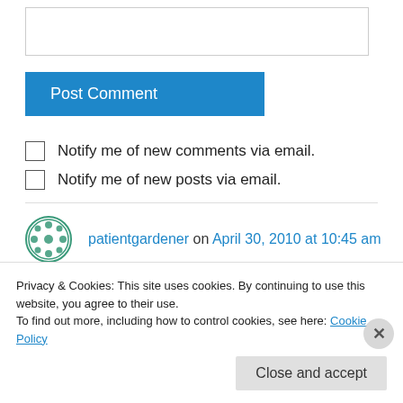[Figure (screenshot): Empty textarea input box for comment]
Post Comment
Notify me of new comments via email.
Notify me of new posts via email.
patientgardener on April 30, 2010 at 10:45 am
Thanks for the nomination, cheered me up no
Privacy & Cookies: This site uses cookies. By continuing to use this website, you agree to their use.
To find out more, including how to control cookies, see here: Cookie Policy
Close and accept